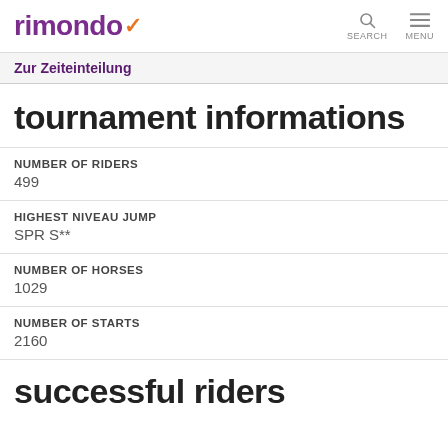rimondo — SEARCH  MENU
Zur Zeiteinteilung
tournament informations
NUMBER OF RIDERS
499
HIGHEST NIVEAU JUMP
SPR S**
NUMBER OF HORSES
1029
NUMBER OF STARTS
2160
successful riders